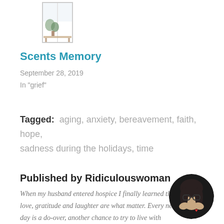[Figure (illustration): Small thumbnail illustration of a window scene with plants]
Scents Memory
September 28, 2019
In "grief"
Tagged: aging, anxiety, bereavement, faith, hope, sadness during the holidays, time
Published by Ridiculouswoman
When my husband entered hospice I finally learned that love, gratitude and laughter are what matter. Every new day is a do-over, another chance to try to live with kindness and an open heart.
[Figure (photo): Circular avatar photo of a woman with glasses resting her hands on her face]